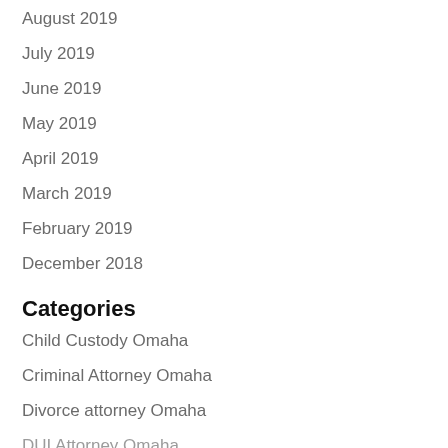August 2019
July 2019
June 2019
May 2019
April 2019
March 2019
February 2019
December 2018
Categories
Child Custody Omaha
Criminal Attorney Omaha
Divorce attorney Omaha
DUI Attorney Omaha